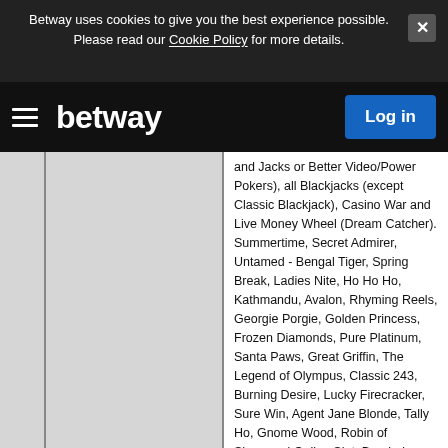Betway uses cookies to give you the best experience possible. Please read our Cookie Policy for more details.
[Figure (screenshot): Betway website navigation bar with hamburger menu icon, Betway logo in white, and blue Log in button]
and Jacks or Better Video/Power Pokers), all Blackjacks (except Classic Blackjack), Casino War and Live Money Wheel (Dream Catcher). Summertime, Secret Admirer, Untamed - Bengal Tiger, Spring Break, Ladies Nite, Ho Ho Ho, Kathmandu, Avalon, Rhyming Reels, Georgie Porgie, Golden Princess, Frozen Diamonds, Pure Platinum, Santa Paws, Great Griffin, The Legend of Olympus, Classic 243, Burning Desire, Lucky Firecracker, Sure Win, Agent Jane Blonde, Tally Ho, Gnome Wood, Robin of Sherwood Online Slot, Break da Bank Again, Silver Fang, Rhyming Reels, Old King Cole, Loaded, Fat Lady Sings, Summertime, Thunderstruck, Harveys, Lucky Zodiac,Sterling Silver 3D Stereo, Classic 243,Gung Pow, Cashville, Mega Moolah